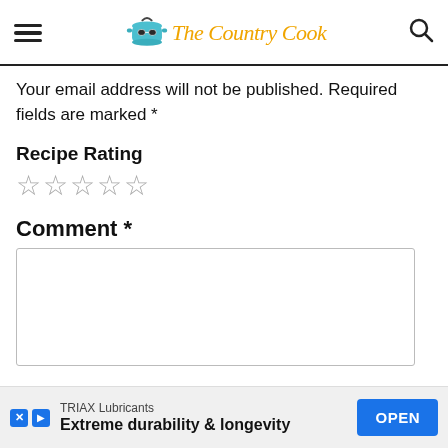The Country Cook
Your email address will not be published. Required fields are marked *
Recipe Rating
☆☆☆☆☆
Comment *
[Figure (screenshot): Empty comment text area input field]
TRIAX Lubricants
Extreme durability & longevity
OPEN